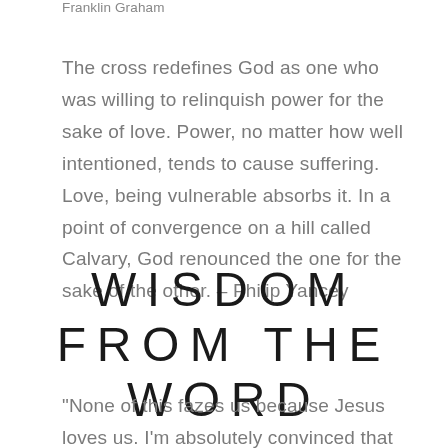Franklin Graham
The cross redefines God as one who was willing to relinquish power for the sake of love. Power, no matter how well intentioned, tends to cause suffering. Love, being vulnerable absorbs it. In a point of convergence on a hill called Calvary, God renounced the one for the sake of the other. – Philip Yancey
WISDOM FROM THE WORD
“None of this fazes us because Jesus loves us. I’m absolutely convinced that nothing—nothing living or